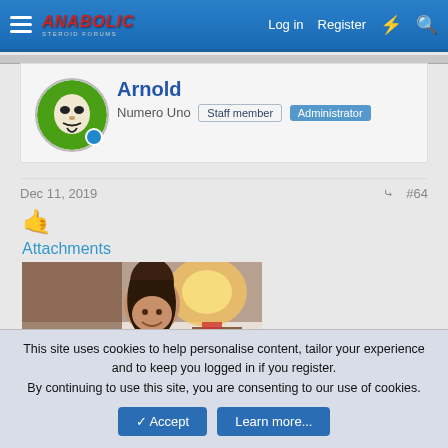Anabolic Steroid Forums — Log in | Register
Arnold
Numero Uno  Staff member  Administrator
Dec 11, 2019  #64
[Figure (illustration): Emoji: face with tongue out / winking emoji]
Attachments
[Figure (photo): Photo of a woman smiling in a bedroom setting with warm lamp light]
This site uses cookies to help personalise content, tailor your experience and to keep you logged in if you register.
By continuing to use this site, you are consenting to our use of cookies.
Accept  Learn more...